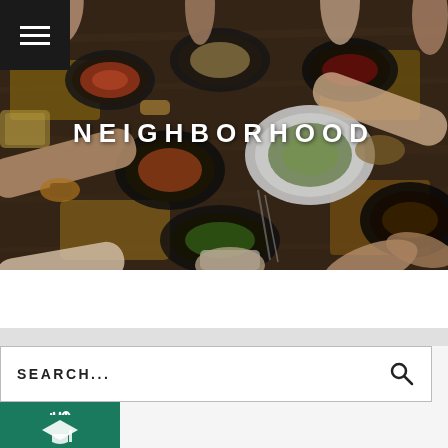[Figure (photo): Aerial/overhead view of people sharing a large spread of food dishes on a wooden table, multiple hands reaching for various plates and bowls with diverse foods]
NEIGHBORHOOD
[Figure (screenshot): Search bar with text SEARCH... and a magnifying glass icon on the right]
[Figure (infographic): Green square icon buttons at bottom left: first with a fork/utensil icon, second with a graduation cap icon]